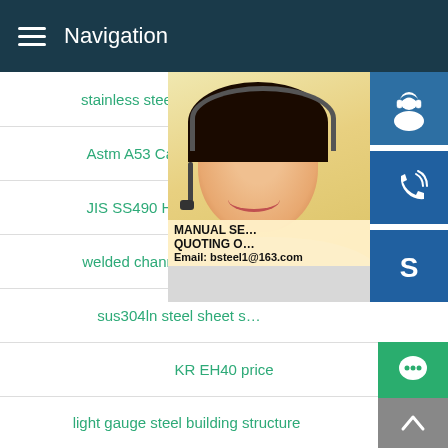Navigation
stainless steel 316 sheet m…
Astm A53 Carbon Steel E…
JIS SS490 H section stee…
welded channel pipe 201 3…
sus304ln steel sheet s…
KR EH40 price
light gauge steel building structure
GB T Q345B H shape steel yield strength
[Figure (photo): Customer service representative with headset, overlaid with blue icon buttons for support, phone, and Skype, plus promotional text: MANUAL SE… QUOTING O… Email: bsteel1@163.com]